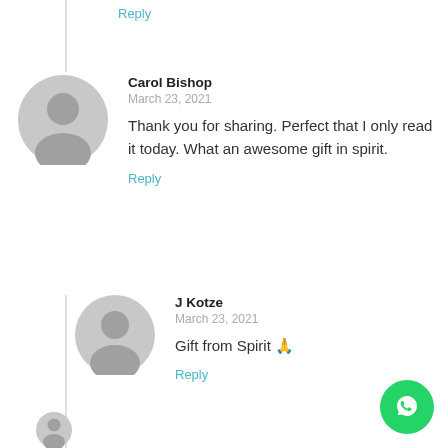Reply
Carol Bishop
March 23, 2021
Thank you for sharing. Perfect that I only read it today. What an awesome gift in spirit.
Reply
J Kotze
March 23, 2021
Gift from Spirit 🙏
Reply
[Figure (illustration): WhatsApp floating action button, green circle with white phone icon]